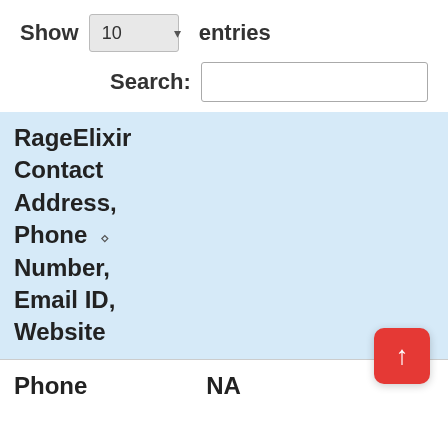Show 10 entries
Search:
| RageElixir Contact Address, Phone Number, Email ID, Website |  |
| --- | --- |
| Phone | NA |